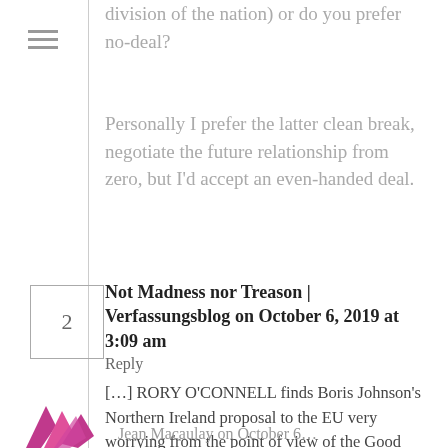division of the nation) or do you prefer no-deal?
Personally I prefer the latter clean break, negotiate the future relationship from zero, but I'd accept an even-handed deal.
2
Not Madness nor Treason | Verfassungsblog on October 6, 2019 at 3:09 am   Reply
[…] RORY O'CONNELL finds Boris Johnson's Northern Ireland proposal to the EU very worrying from the point of view of the Good Friday Agreement and peace on the Irish island. […]
Jean Macaulay on October 6…